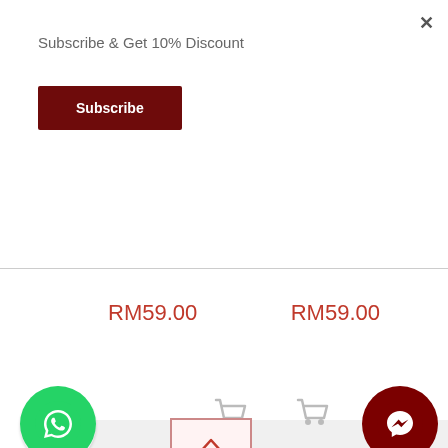×
Subscribe & Get 10% Discount
Subscribe
RM59.00
RM59.00
[Figure (logo): Google Translate icon button (circular white background with G-Translate logo)]
[Figure (icon): Shopping cart icon (light gray)]
[Figure (icon): Shopping cart icon (light gray)]
[Figure (logo): WhatsApp floating button (green circle with white phone/chat icon)]
[Figure (logo): Facebook Messenger floating button (dark red circle with white lightning bolt icon)]
[Figure (icon): Scroll to top button (white square with upward chevron, pink/red border)]